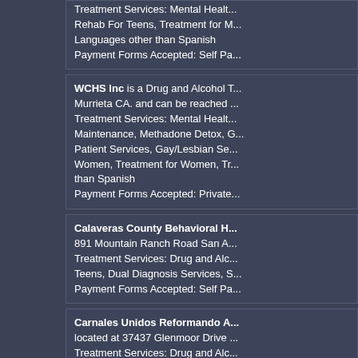Treatment Services: Mental Health... Rehab For Teens, Treatment for M... Languages other than Spanish Payment Forms Accepted: Self Pa...
WCHS Inc is a Drug and Alcohol T... Murrieta CA. and can be reached ... Treatment Services: Mental Health... Maintenance, Methadone Detox, G... Patient Services, Gay/Lesbian Se... Women, Treatment for Women, Tr... than Spanish Payment Forms Accepted: Private...
Calaveras County Behavioral H... 891 Mountain Ranch Road San A... Treatment Services: Drug and Alco... Teens, Dual Diagnosis Services, S... Payment Forms Accepted: Self Pa...
Carnales Unidos Reformando A... located at 37437 Glenmoor Drive ... Treatment Services: Drug and Alco... Term Treatment, Treatment for Wo... Languages other than Spanish Payment Forms Accepted: Self Pa...
KC Services is a Drug Treatment ... Fullerton CA. and can be reached ... Treatment Services: Drug and Alco... Teens, Services for DUI Clients...